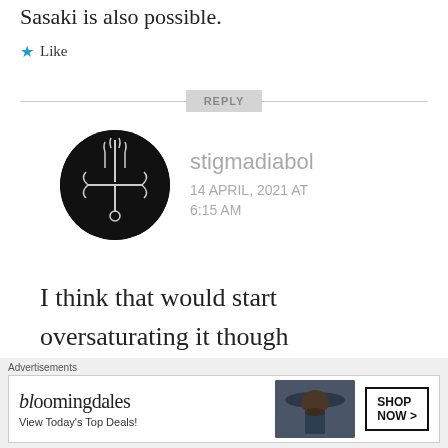Sasaki is also possible.
★ Like
REPLY
[Figure (illustration): Black circular avatar with a white occult/sigil cross symbol in the center]
stigmadiabol
14 APRIL, 2021 AT 6:15 AM
I think that would start oversaturating it though
I feel like top 2 maaybe 3
Advertisements
[Figure (screenshot): Bloomingdale's advertisement banner with logo, 'View Today's Top Deals!' text, woman in hat image, and SHOP NOW button]